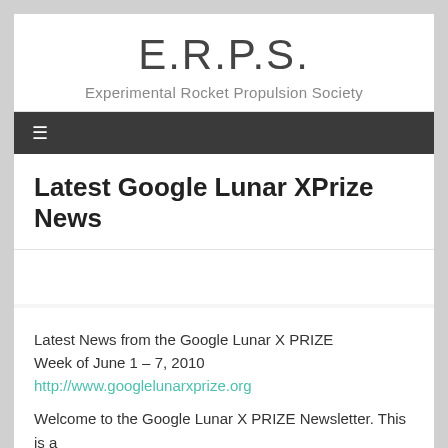E.R.P.S.
Experimental Rocket Propulsion Society
Latest Google Lunar XPrize News
Latest News from the Google Lunar X PRIZE
Week of June 1 – 7, 2010
http://www.googlelunarxprize.org
Welcome to the Google Lunar X PRIZE Newsletter. This is a weekly brief about the competition that will be sent every…